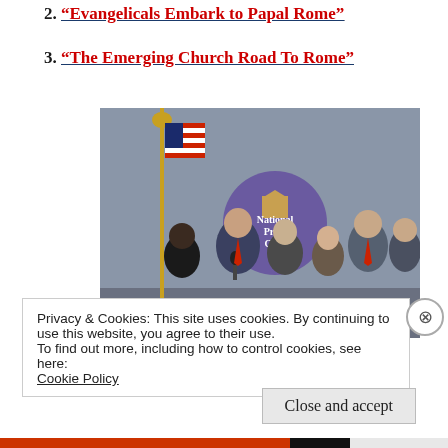2. “Evangelicals Embark to Papal Rome”
3. “The Emerging Church Road To Rome”
[Figure (photo): Group of people standing at a podium in front of a National Press Club backdrop. An American flag is visible on the left. Several men and a woman are gathered, one speaking at a microphone.]
Privacy & Cookies: This site uses cookies. By continuing to use this website, you agree to their use.
To find out more, including how to control cookies, see here:
Cookie Policy
Close and accept